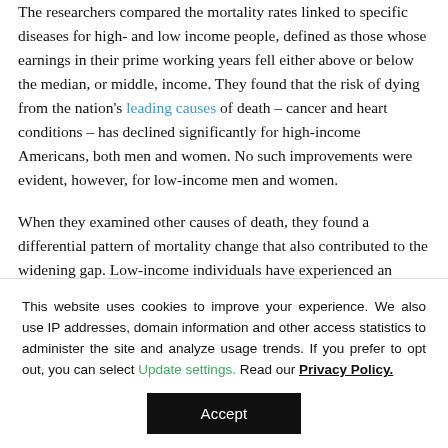The researchers compared the mortality rates linked to specific diseases for high- and low income people, defined as those whose earnings in their prime working years fell either above or below the median, or middle, income. They found that the risk of dying from the nation's leading causes of death – cancer and heart conditions – has declined significantly for high-income Americans, both men and women. No such improvements were evident, however, for low-income men and women.
When they examined other causes of death, they found a differential pattern of mortality change that also contributed to the widening gap. Low-income individuals have experienced an increase in their risk of dying from a broad range of illnesses, from allergies, hay fever, and tonsillitis to digestive tract illnesses and unspecified causes. But the risk from many of these diseases has not increased for high-income
This website uses cookies to improve your experience. We also use IP addresses, domain information and other access statistics to administer the site and analyze usage trends. If you prefer to opt out, you can select Update settings. Read our Privacy Policy.
Accept